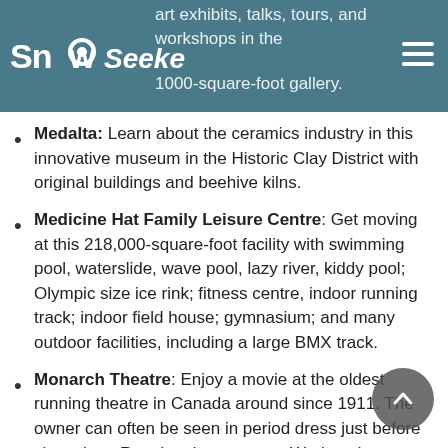SnowSeekers — art exhibits, talks, tours, and workshops in the 1000-square-foot gallery.
Medalta: Learn about the ceramics industry in this innovative museum in the Historic Clay District with original buildings and beehive kilns.
Medicine Hat Family Leisure Centre: Get moving at this 218,000-square-foot facility with swimming pool, waterslide, wave pool, lazy river, kiddy pool; Olympic size ice rink; fitness centre, indoor running track; indoor field house; gymnasium; and many outdoor facilities, including a large BMX track.
Monarch Theatre: Enjoy a movie at the oldest running theatre in Canada around since 1911. The owner can often be seen in period dress just before show time. Regular shows are on Wednesday, Friday, Saturday and Sunday at 7:30